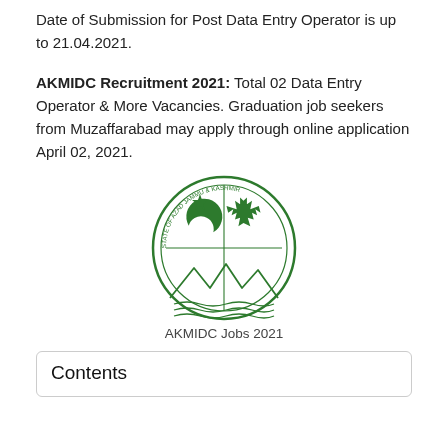Date of Submission for Post Data Entry Operator is up to 21.04.2021.
AKMIDC Recruitment 2021: Total 02 Data Entry Operator & More Vacancies. Graduation job seekers from Muzaffarabad may apply through online application April 02, 2021.
[Figure (logo): Circular seal of the Government of the State of Azad Jammu & Kashmir in green, featuring a crescent moon, star, maple leaf, mountains, and waves with text around the border.]
AKMIDC Jobs 2021
Contents